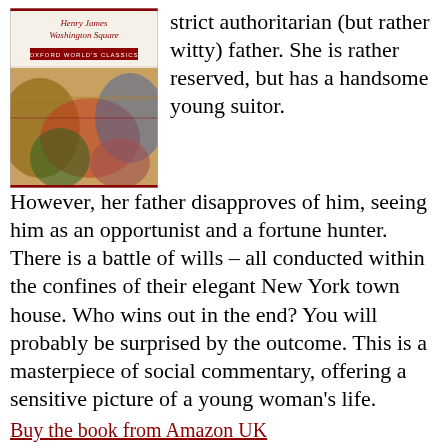[Figure (illustration): Book cover of Washington Square by Henry James, Oxford World's Classics edition, with colorful artistic design]
strict authoritarian (but rather witty) father. She is rather reserved, but has a handsome young suitor. However, her father disapproves of him, seeing him as an opportunist and a fortune hunter. There is a battle of wills – all conducted within the confines of their elegant New York town house. Who wins out in the end? You will probably be surprised by the outcome. This is a masterpiece of social commentary, offering a sensitive picture of a young woman's life.
Buy the book from Amazon UK
Buy the book from Amazon US
[Figure (illustration): Book cover of The Aspern Papers, dark background with artistic figures]
The Aspern Papers
(1888) is a psychological drama